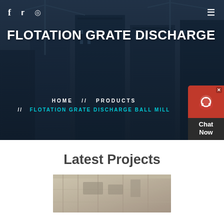[Figure (screenshot): Hero banner with construction site background (cranes, skyscrapers, dark blue overlay). Contains social icons (f, Twitter bird, Dribbble), hamburger menu top right, large title FLOTATION GRATE DISCHARGE, breadcrumb navigation HOME // PRODUCTS // FLOTATION GRATE DISCHARGE BALL MILL, and a chat widget on the right.]
FLOTATION GRATE DISCHARGE
HOME  //  PRODUCTS  //  FLOTATION GRATE DISCHARGE BALL MILL
Latest Projects
[Figure (photo): Partial photo of an industrial/construction interior with steel framing and equipment visible.]